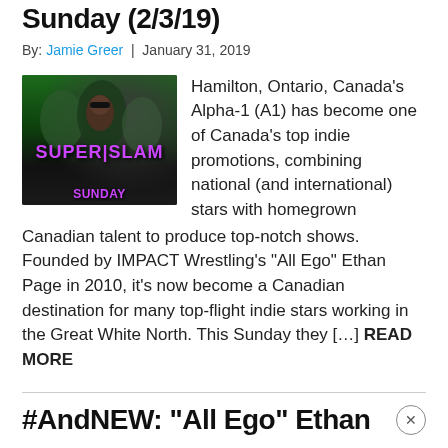Sunday (2/3/19)
By: Jamie Greer | January 31, 2019
[Figure (photo): Super Slam Sunday event poster with purple text on green/dark background]
Hamilton, Ontario, Canada’s Alpha-1 (A1) has become one of Canada’s top indie promotions, combining national (and international) stars with homegrown Canadian talent to produce top-notch shows. Founded by IMPACT Wrestling’s “All Ego” Ethan Page in 2010, it’s now become a Canadian destination for many top-flight indie stars working in the Great White North. This Sunday they [...] READ MORE
#AndNEW: “All Ego” Ethan